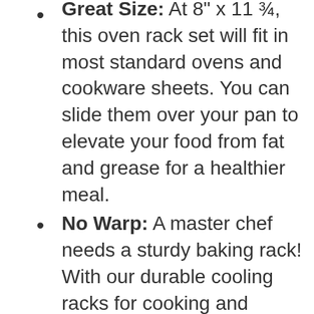Great Size: At 8" x 11 ¾, this oven rack set will fit in most standard ovens and cookware sheets. You can slide them over your pan to elevate your food from fat and grease for a healthier meal.
No Warp: A master chef needs a sturdy baking rack! With our durable cooling racks for cooking and baking, you won't have to worry about warping and wobbling.
Grid Design: No more cookies sliding through the gaps! Our cooking rack set has a perfectly